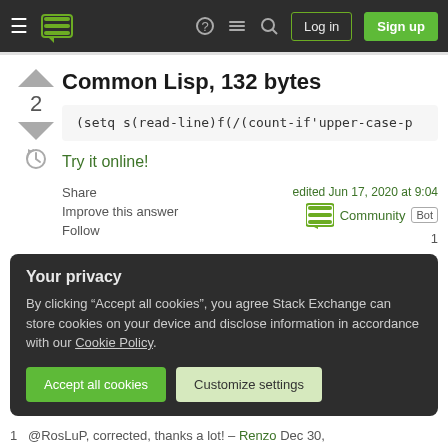Stack Exchange navigation bar with Log in and Sign up buttons
Common Lisp, 132 bytes
(setq s(read-line)f(/(count-if'upper-case-p
Try it online!
Share
Improve this answer
Follow
edited Jun 17, 2020 at 9:04
Community Bot
1
Your privacy
By clicking “Accept all cookies”, you agree Stack Exchange can store cookies on your device and disclose information in accordance with our Cookie Policy.
Accept all cookies
Customize settings
1   @RosLuP, corrected, thanks a lot! – Renzo Dec 30,